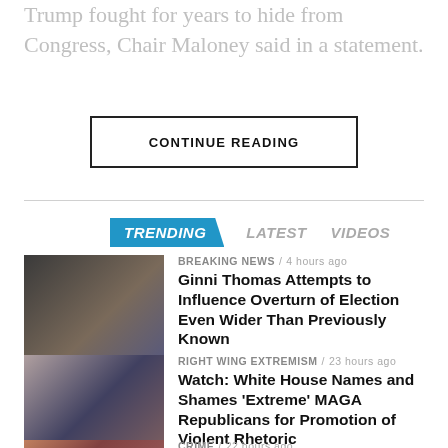Trump fought for years to hide from Congress, Chair Maloney said in a statement.
CONTINUE READING
TRENDING   LATEST   VIDEOS
BREAKING NEWS / 4 hours ago
Ginni Thomas Attempts to Influence Overturn of Election Even Wider Than Previously Known
[Figure (photo): Photo of two men in suits, one appears to be Donald Trump]
RIGHT WING EXTREMISM / 23 hours ago
Watch: White House Names and Shames ‘Extreme’ MAGA Republicans for Promotion of Violent Rhetoric
[Figure (photo): Photo of a woman speaking at a podium with American flags in the background]
CRIME / 22 hours ago
Former Top Trump Aides: Probably ‘More Highly Classified Documents at Bedminster’ or His
[Figure (photo): Photo of Donald Trump with another person, Turkish flag visible]